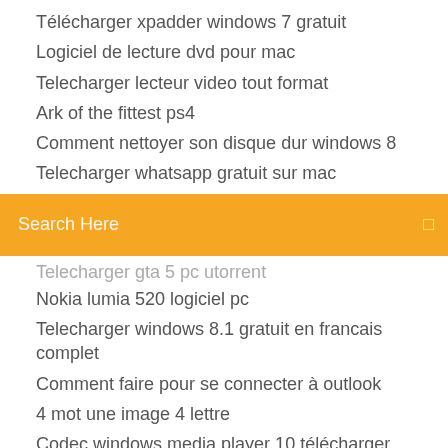Télécharger xpadder windows 7 gratuit
Logiciel de lecture dvd pour mac
Telecharger lecteur video tout format
Ark of the fittest ps4
Comment nettoyer son disque dur windows 8
Telecharger whatsapp gratuit sur mac
[Figure (screenshot): Orange search bar with text 'Search Here' and a search icon on the right]
Telecharger gta 5 pc utorrent
Nokia lumia 520 logiciel pc
Telecharger windows 8.1 gratuit en francais complet
Comment faire pour se connecter à outlook
4 mot une image 4 lettre
Codec windows media player 10 télécharger
Fifa 19 pc gratis télécharger
Visual boy advance télécharger mac
Comment enregistrer une émission en replay sur pc
Winrar télécharger windows 10 32 bit
Open document spreadsheet gratuit télécharger